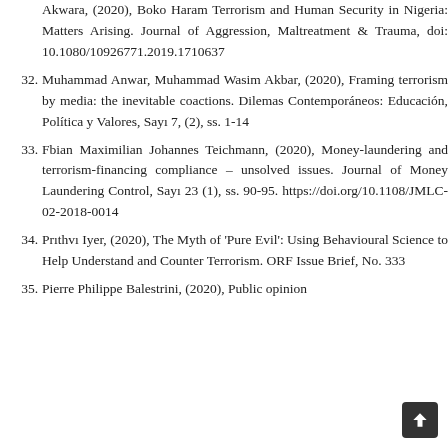Akwara, (2020), Boko Haram Terrorism and Human Security in Nigeria: Matters Arising. Journal of Aggression, Maltreatment & Trauma, doi: 10.1080/10926771.2019.1710637
32. Muhammad Anwar, Muhammad Wasim Akbar, (2020), Framing terrorism by media: the inevitable coactions. Dilemas Contemporáneos: Educación, Política y Valores, Sayı 7, (2), ss. 1-14
33. Fbian Maximilian Johannes Teichmann, (2020), Money-laundering and terrorism-financing compliance – unsolved issues. Journal of Money Laundering Control, Sayı 23 (1), ss. 90-95. https://doi.org/10.1108/JMLC-02-2018-0014
34. Prıthvı Iyer, (2020), The Myth of 'Pure Evil': Using Behavioural Science to Help Understand and Counter Terrorism. ORF Issue Brief, No. 333
35. Pierre Philippe Balestrini, (2020), Public opinion